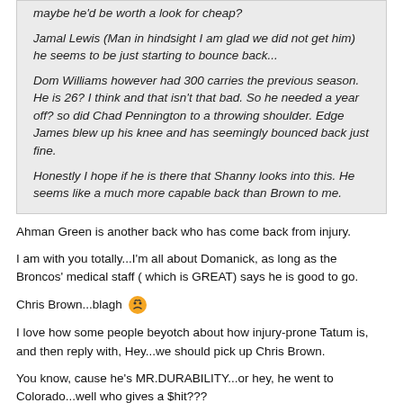maybe he'd be worth a look for cheap?
Jamal Lewis (Man in hindsight I am glad we did not get him) he seems to be just starting to bounce back...
Dom Williams however had 300 carries the previous season. He is 26? I think and that isn't that bad. So he needed a year off? so did Chad Pennington to a throwing shoulder. Edge James blew up his knee and has seemingly bounced back just fine.
Honestly I hope if he is there that Shanny looks into this. He seems like a much more capable back than Brown to me.
Ahman Green is another back who has come back from injury.
I am with you totally...I'm all about Domanick, as long as the Broncos' medical staff ( which is GREAT) says he is good to go.
Chris Brown...blagh 🤢
I love how some people beyotch about how injury-prone Tatum is, and then reply with, Hey...we should pick up Chris Brown.
You know, cause he's MR.DURABILITY...or hey, he went to Colorado...well who gives a $hit???